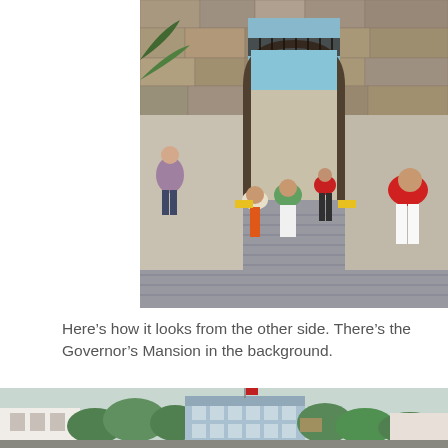[Figure (photo): Tourists walking through a stone archway gate with iron grill, cobblestone path, large stone walls on both sides, sea visible through the arch in the background.]
Here’s how it looks from the other side. There’s the Governor’s Mansion in the background.
[Figure (photo): Partial view of a blue colonial building (Governor's Mansion) seen above trees and other white buildings, with a flag visible.]